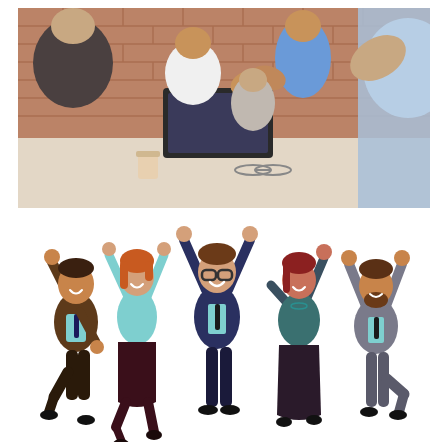[Figure (photo): Office meeting scene with people shaking hands across a table while others applaud. Brick wall background, laptops and coffee cups on table.]
[Figure (illustration): Cartoon illustration of five diverse business professionals celebrating with arms raised in the air, jumping and cheering. They wear business casual attire in dark and teal colors.]